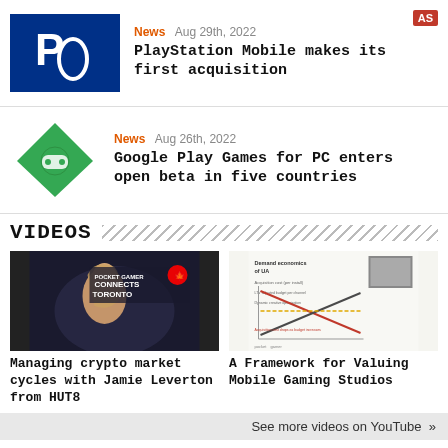[Figure (logo): PlayStation logo on blue background]
News  Aug 29th, 2022
AS
PlayStation Mobile makes its first acquisition
[Figure (logo): Google Play Games green diamond logo]
News  Aug 26th, 2022
Google Play Games for PC enters open beta in five countries
VIDEOS
[Figure (photo): Video thumbnail: Managing crypto market cycles with Jamie Leverton from HUT8 - Pocket Gamer Connects Toronto event]
Managing crypto market cycles with Jamie Leverton from HUT8
[Figure (screenshot): Video thumbnail: A Framework for Valuing Mobile Gaming Studios - chart with demand economics]
A Framework for Valuing Mobile Gaming Studios
See more videos on YouTube  »
PGBIZ ON FACEBOOK